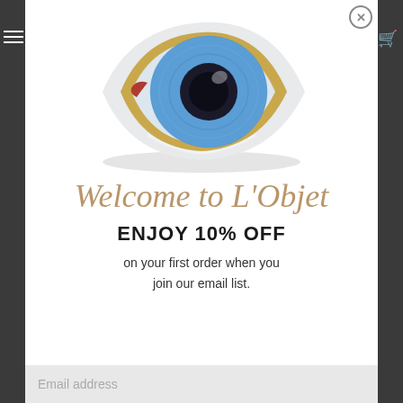[Figure (illustration): A decorative eye-shaped jewelry piece or object with blue iris, gold rim border, and white enamel surround, viewed from above on white background.]
Welcome to L'Objet
ENJOY 10% OFF
on your first order when you join our email list.
Email address